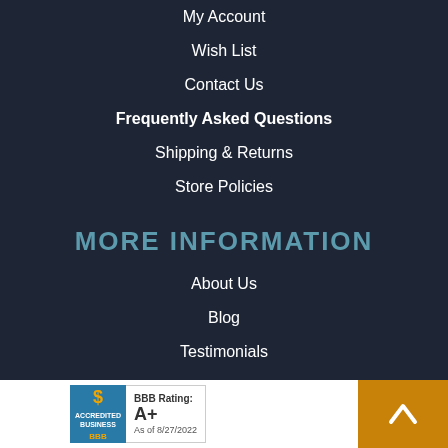My Account
Wish List
Contact Us
Frequently Asked Questions
Shipping & Returns
Store Policies
MORE INFORMATION
About Us
Blog
Testimonials
© 2022 Elusive Disc. All Rights Reserved.
[Figure (logo): BBB Accredited Business badge with rating A+ as of 8/27/2022]
[Figure (other): Orange scroll-to-top button with upward arrow]